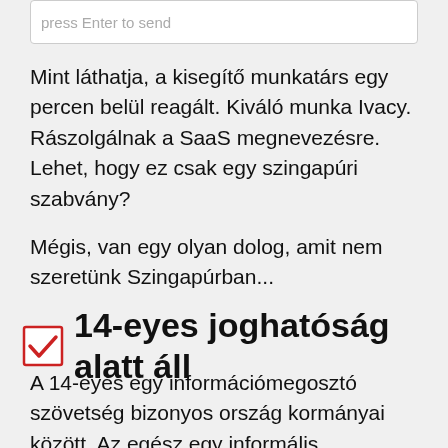[Figure (screenshot): Text input box with placeholder text 'press Enter to send']
Mint láthatja, a kisegítő munkatárs egy percen belül reagált. Kiváló munka Ivacy. Rászolgálnak a SaaS megnevezésre. Lehet, hogy ez csak egy szingapúri szabvány?
Mégis, van egy olyan dolog, amit nem szeretünk Szingapúrban...
14-eyes joghatóság alatt áll
A 14-eyes egy információmegosztó szövetség bizonyos ország kormányai között. Az egész egy informális megállapodásként kezdődött az Egyesült Királyság és az Egyesült Államok között, amelyet "Atlantic Charter"-nek